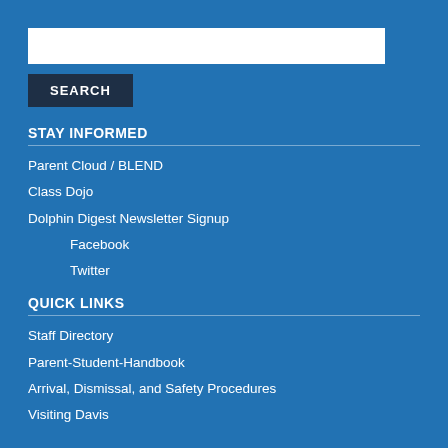[search input box]
SEARCH
STAY INFORMED
Parent Cloud / BLEND
Class Dojo
Dolphin Digest Newsletter Signup
Facebook
Twitter
QUICK LINKS
Staff Directory
Parent-Student-Handbook
Arrival, Dismissal, and Safety Procedures
Visiting Davis